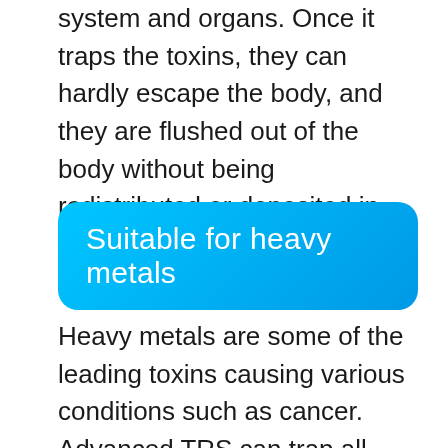system and organs. Once it traps the toxins, they can hardly escape the body, and they are flushed out of the body without being redistributed or deposited in other parts of the body.
[Figure (other): Blue rounded button with white text reading 'Suitable for heavy metals']
Heavy metals are some of the leading toxins causing various conditions such as cancer. Advanced TRS can trap all toxins, including heavy metals, protecting you from cancer due to excess toxin accumulation. It is also conducive to absorbing other foreign bodies